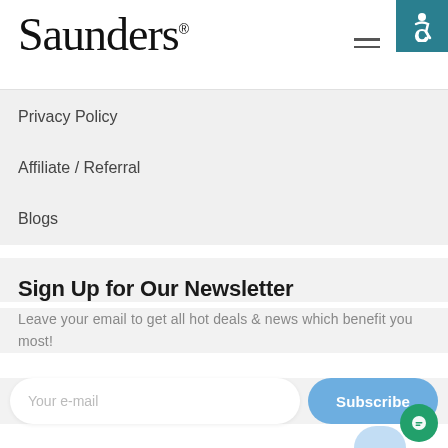Saunders®
Privacy Policy
Affiliate / Referral
Blogs
Sign Up for Our Newsletter
Leave your email to get all hot deals & news which benefit you most!
Your e-mail
Subscribe